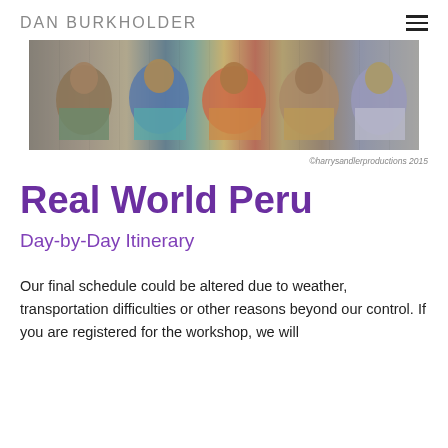DAN BURKHOLDER
[Figure (photo): A group of people wearing traditional Andean clothing and hats seated in blue chairs]
©harrysandlerproductions 2015
Real World Peru
Day-by-Day Itinerary
Our final schedule could be altered due to weather, transportation difficulties or other reasons beyond our control. If you are registered for the workshop, we will